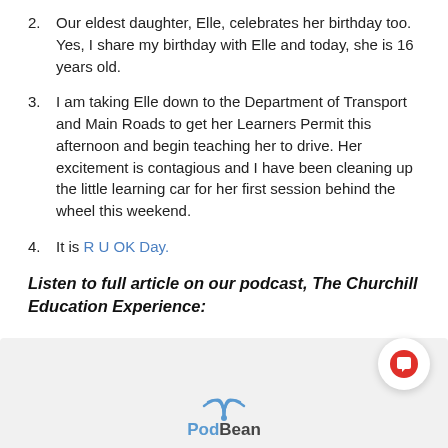2. Our eldest daughter, Elle, celebrates her birthday too. Yes, I share my birthday with Elle and today, she is 16 years old.
3. I am taking Elle down to the Department of Transport and Main Roads to get her Learners Permit this afternoon and begin teaching her to drive. Her excitement is contagious and I have been cleaning up the little learning car for her first session behind the wheel this weekend.
4. It is R U OK Day.
Listen to full article on our podcast, The Churchill Education Experience:
[Figure (logo): PodBean logo with arc/wifi icon above the wordmark]